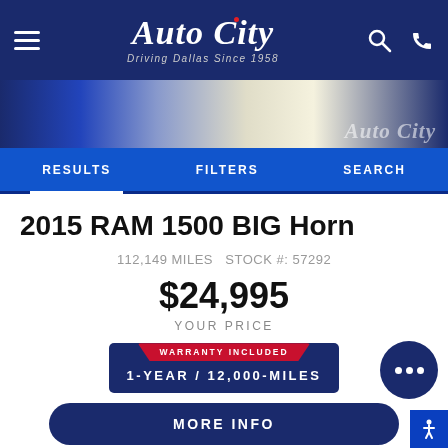Auto City — Driving Dallas Since 1958
[Figure (screenshot): Auto City dealership website screenshot showing navigation bar with hamburger menu, Auto City logo, search and phone icons, a car image strip with Auto City watermark, and a navigation tab bar with RESULTS, FILTERS, SEARCH tabs.]
2015 RAM 1500 BIG Horn
112,149 MILES  STOCK #: 57292
$24,995
YOUR PRICE
WARRANTY INCLUDED
1-YEAR / 12,000-MILES
MORE INFO
GET PRE-APPROVED